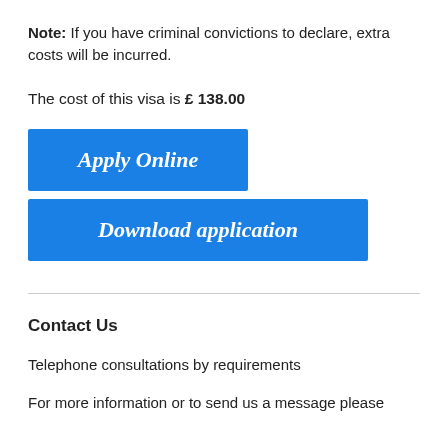Note: If you have criminal convictions to declare, extra costs will be incurred.
The cost of this visa is £ 138.00
Apply Online
Download application
Contact Us
Telephone consultations by requirements
For more information or to send us a message please